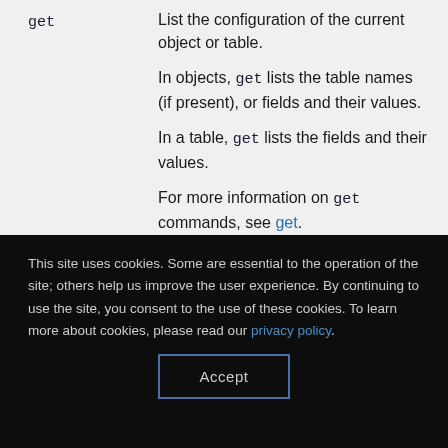get
List the configuration of the current object or table.
In objects, get lists the table names (if present), or fields and their values.
In a table, get lists the fields and their values.
For more information on get commands, see get.
This site uses cookies. Some are essential to the operation of the site; others help us improve the user experience. By continuing to use the site, you consent to the use of these cookies. To learn more about cookies, please read our privacy policy.
Accept